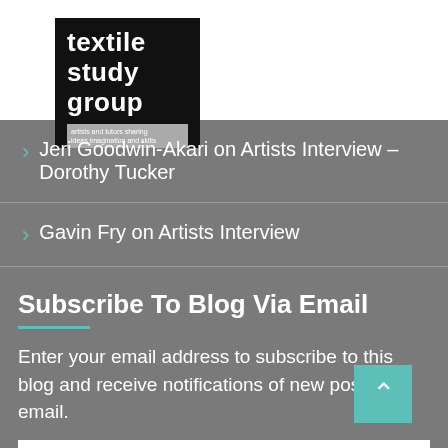[Figure (logo): Textile Study Group logo — black box with white text reading 'textile study group' and a grey subtitle bar reading 'artists and tutors sharing ideas imagination and skills']
Jeri Goodwin-Akari on Artists Interview – Dorothy Tucker
Gavin Fry on Artists Interview
Subscribe To Blog Via Email
Enter your email address to subscribe to this blog and receive notifications of new posts by email.
Email Address